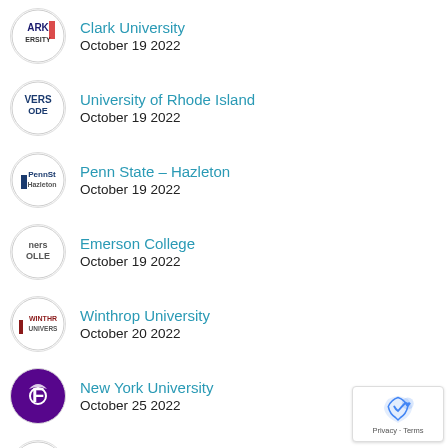Clark University
October 19 2022
University of Rhode Island
October 19 2022
Penn State – Hazleton
October 19 2022
Emerson College
October 19 2022
Winthrop University
October 20 2022
New York University
October 25 2022
University of South Florida – Tampa
October 26 2022